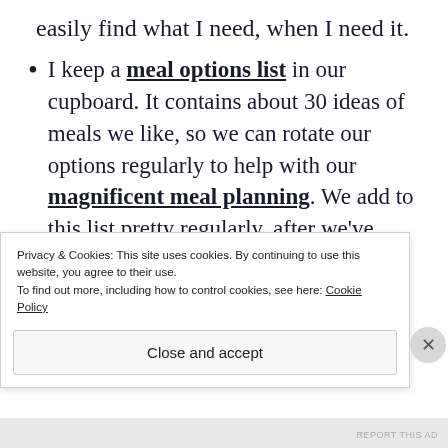easily find what I need, when I need it.
I keep a meal options list in our cupboard. It contains about 30 ideas of meals we like, so we can rotate our options regularly to help with our magnificent meal planning. We add to this list pretty regularly, after we've tried new dishes and decide they make it to the list.
[partially visible text below list item]
Privacy & Cookies: This site uses cookies. By continuing to use this website, you agree to their use.
To find out more, including how to control cookies, see here: Cookie Policy
Close and accept